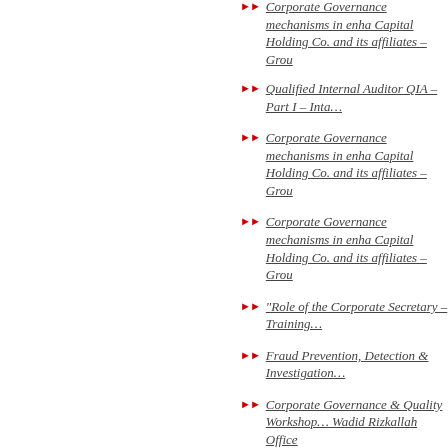Corporate Governance mechanisms in enhancing Capital Holding Co. and its affiliates – Group
Qualified Internal Auditor QIA – Part I – Inta…
Corporate Governance mechanisms in enhancing Capital Holding Co. and its affiliates – Group
Corporate Governance mechanisms in enhancing Capital Holding Co. and its affiliates – Group
"Role of the Corporate Secretary – Training…
Fraud Prevention, Detection & Investigation…
Corporate Governance & Quality Workshop… Wadid Rizkallah Office
"Code of Business Conduct & Whistleblowing… Co. and its affiliates
Role of the Audit Committees – Training Co…
Corporate Governance & Quality Workshop… Egyptian Tax Experts Association
Internal Audit Program for the Holding Co. f… Group
The EIoD finalized Board Development Seri…
Role of the Corporate Governance Officer –
The EIoD introduced Part III & Part IV of the… Oman
CG & Control Environment – Intake #1